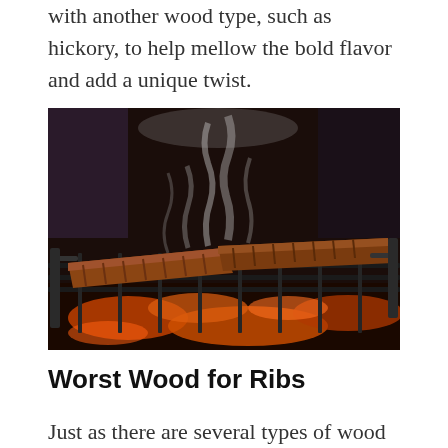with another wood type, such as hickory, to help mellow the bold flavor and add a unique twist.
[Figure (photo): Two racks of ribs cooking on a grill grate over glowing red-orange coals, with smoke rising from the meat against a dark background.]
Worst Wood for Ribs
Just as there are several types of wood that you